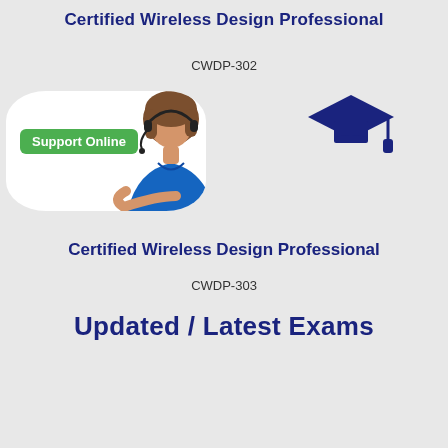Certified Wireless Design Professional
CWDP-302
[Figure (illustration): Customer support person with headset and 'Support Online' green label, alongside a graduation cap icon, on a white rounded-rectangle background]
Certified Wireless Design Professional
CWDP-303
Updated / Latest Exams